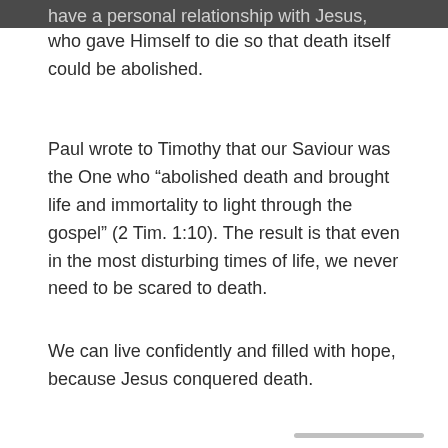have a personal relationship with Jesus, who gave Himself to die so that death itself could be abolished.
Paul wrote to Timothy that our Saviour was the One who “abolished death and brought life and immortality to light through the gospel” (2 Tim. 1:10). The result is that even in the most disturbing times of life, we never need to be scared to death.
We can live confidently and filled with hope, because Jesus conquered death.